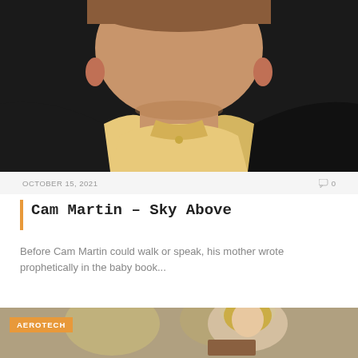[Figure (photo): Close-up photo of a man wearing a yellow button-up shirt and dark blazer, cropped at the chest/lower face]
OCTOBER 15, 2021
0
Cam Martin – Sky Above
Before Cam Martin could walk or speak, his mother wrote prophetically in the baby book...
[Figure (photo): Photo of a woman with blonde hair seated in a floral-patterned chair, with an AEROTECH badge overlay in the upper left]